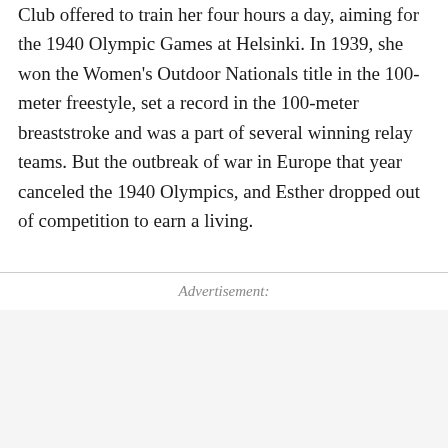Club offered to train her four hours a day, aiming for the 1940 Olympic Games at Helsinki. In 1939, she won the Women's Outdoor Nationals title in the 100-meter freestyle, set a record in the 100-meter breaststroke and was a part of several winning relay teams. But the outbreak of war in Europe that year canceled the 1940 Olympics, and Esther dropped out of competition to earn a living.
Advertisement: